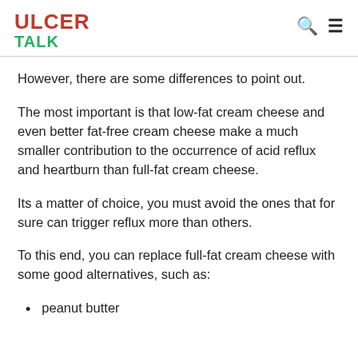ULCER TALK
However, there are some differences to point out.
The most important is that low-fat cream cheese and even better fat-free cream cheese make a much smaller contribution to the occurrence of acid reflux and heartburn than full-fat cream cheese.
Its a matter of choice, you must avoid the ones that for sure can trigger reflux more than others.
To this end, you can replace full-fat cream cheese with some good alternatives, such as:
peanut butter